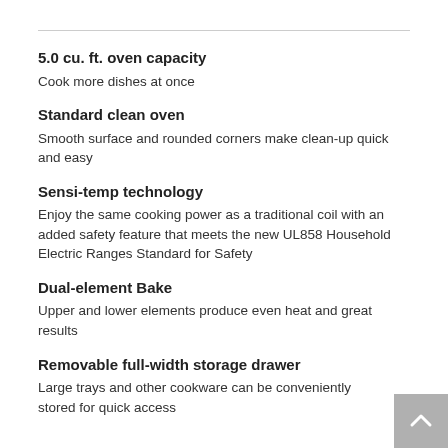5.0 cu. ft. oven capacity
Cook more dishes at once
Standard clean oven
Smooth surface and rounded corners make clean-up quick and easy
Sensi-temp technology
Enjoy the same cooking power as a traditional coil with an added safety feature that meets the new UL858 Household Electric Ranges Standard for Safety
Dual-element Bake
Upper and lower elements produce even heat and great results
Removable full-width storage drawer
Large trays and other cookware can be conveniently stored for quick access